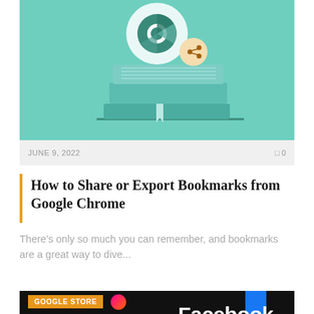[Figure (illustration): Teal/mint background illustration showing a stack of books with a Google Chrome logo above and a share icon badge. Flat design style.]
JUNE 9, 2022
0
How to Share or Export Bookmarks from Google Chrome
There's only so much you can remember, and bookmarks are a great way to dive...
[Figure (photo): Dark background photo showing app icons including Facebook text in white, with a Google Store badge overlay in orange.]